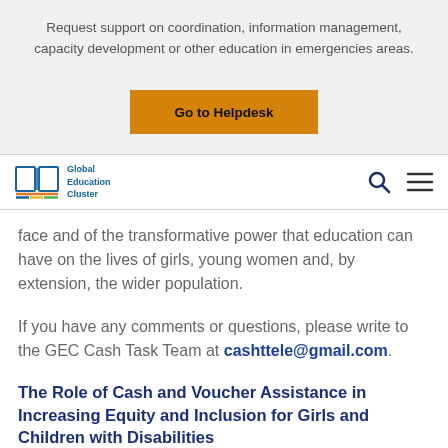Request support on coordination, information management, capacity development or other education in emergencies areas.
[Figure (other): Orange button labeled 'Go to Helpdesk']
[Figure (logo): Global Education Cluster logo with book icon and navigation search/menu icons]
face and of the transformative power that education can have on the lives of girls, young women and, by extension, the wider population.
If you have any comments or questions, please write to the GEC Cash Task Team at cashttele@gmail.com.
The Role of Cash and Voucher Assistance in Increasing Equity and Inclusion for Girls and Children with Disabilities